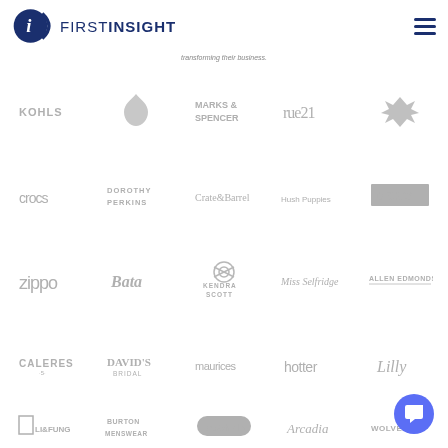First Insight
transforming their business.
[Figure (logo): Grid of retail brand logos including Kohl's, Marks & Spencer, rue21, Under Armour, crocs, Dorothy Perkins, Crate&Barrel, Hush Puppies, Dick's Sporting Goods, Zippo, Bata, Kendra Scott, Miss Selfridge, Allen Edmonds, Caleres, David's Bridal, maurices, hotter, Lilly Pulitzer, Li & Fung, Burton Menswear, Dr Scholl's, Arcadia, Wolverine - all shown in gray/monochrome]